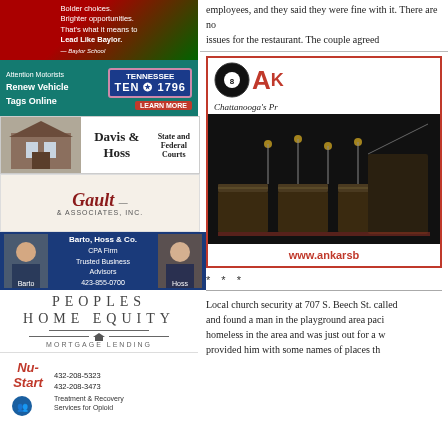[Figure (photo): Baylor School advertisement – Bolder choices. Brighter opportunities. That's what it means to Lead Like Baylor.]
[Figure (photo): Tennessee DMV ad – Attention Motorists: Renew Vehicle Tags Online. Learn More. License plate TEN 1796.]
[Figure (photo): Davis & Hoss law firm ad – State and Federal Courts. Shows a historic building.]
[Figure (illustration): Gault & Associates, Inc. advertisement logo in red italic script.]
[Figure (photo): Barto, Hoss & Co. CPA Firm – Trusted Business Advisors. 423-855-0700. Photos of Barto and Hoss.]
[Figure (logo): Peoples Home Equity Mortgage Lending advertisement.]
[Figure (illustration): Nu-Start Treatment & Recovery Services for Opioid. 432-208-5323, 432-208-3473.]
employees, and they said they were fine with it. There are no issues for the restaurant. The couple agreed
[Figure (photo): Ankar's Billiards advertisement – Chattanooga's Premier billiards venue. Photo of billiard tables in dark room. www.ankarsb...]
* * *
Local church security at 707 S. Beech St. called and found a man in the playground area paci... homeless in the area and was just out for a w... provided him with some names of places th...